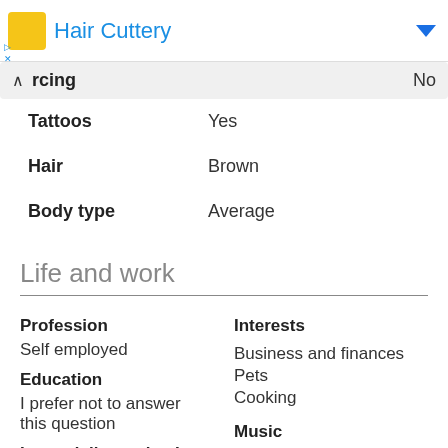[Figure (other): Hair Cuttery advertisement banner with logo and blue text]
| rcing | No |
| Tattoos | Yes |
| Hair | Brown |
| Body type | Average |
Life and work
Profession
Self employed
Education
I prefer not to answer this question
In my daily routine I
Interests
Business and finances
Pets
Cooking
Music
Pop